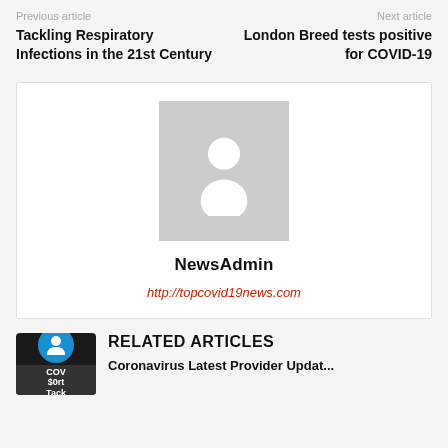Previous article
Next article
Tackling Respiratory Infections in the 21st Century
London Breed tests positive for COVID-19
[Figure (illustration): Author avatar placeholder with grey background and white silhouette person icon]
NewsAdmin
http://topcovid19news.com
[Figure (screenshot): Small thumbnail with blue circle icon and dark background showing COV $0rt label]
RELATED ARTICLES
Coronavirus Latest Provider Updat...